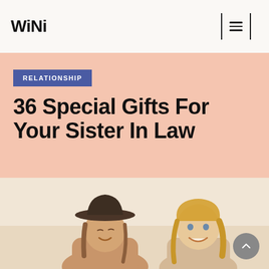WiNi
RELATIONSHIP
36 Special Gifts For Your Sister In Law
[Figure (photo): Two young women smiling outdoors, one wearing a dark wide-brim hat, photographed against a bright background]